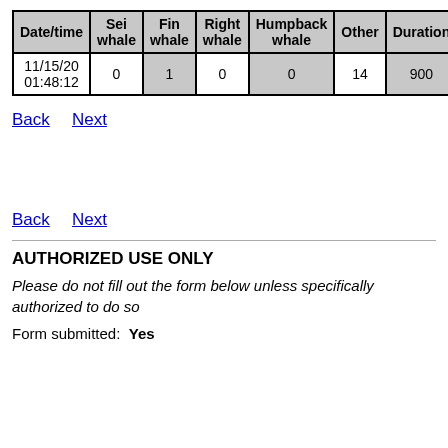| Date/time | Sei whale | Fin whale | Right whale | Humpback whale | Other | Duration |
| --- | --- | --- | --- | --- | --- | --- |
| 11/15/20 01:48:12 | 0 | 1 | 0 | 0 | 14 | 900 |
Back   Next
Back   Next
AUTHORIZED USE ONLY
Please do not fill out the form below unless specifically authorized to do so
Form submitted:  Yes